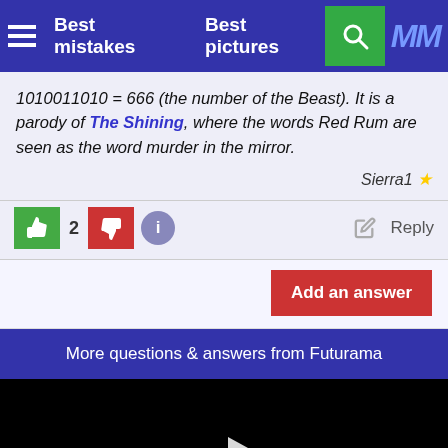Best mistakes   Best pictures
1010011010 = 666 (the number of the Beast). It is a parody of The Shining, where the words Red Rum are seen as the word murder in the mirror.
Sierra1 ★
👍 2 👎 ℹ️  ✏️  Reply
Add an answer
More questions & answers from Futurama